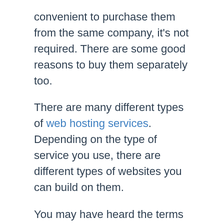convenient to purchase them from the same company, it's not required. There are some good reasons to buy them separately too.
There are many different types of web hosting services.  Depending on the type of service you use, there are different types of websites you can build on them.
You may have heard the terms hosted vs self hosted websites, or even non hosted websites. I'm going to explain the difference and the pros and cons to each.
Self-Hosted (or Non-